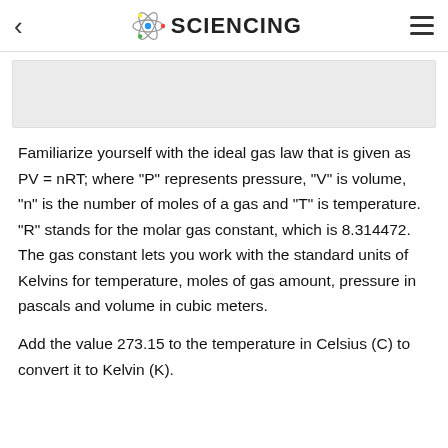SCIENCING
[Figure (other): Advertisement or image placeholder box]
Familiarize yourself with the ideal gas law that is given as PV = nRT; where "P" represents pressure, "V" is volume, "n" is the number of moles of a gas and "T" is temperature. "R" stands for the molar gas constant, which is 8.314472. The gas constant lets you work with the standard units of Kelvins for temperature, moles of gas amount, pressure in pascals and volume in cubic meters.
Add the value 273.15 to the temperature in Celsius (C) to convert it to Kelvin (K).